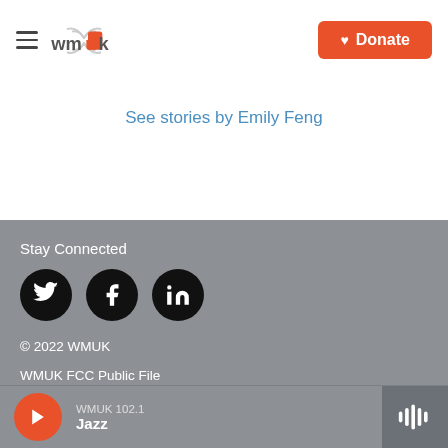[Figure (logo): WMUK radio station logo with hamburger menu icon on the left and orange Donate button with heart icon on the right]
See stories by Emily Feng
Stay Connected
[Figure (infographic): Three circular social media icons: Twitter (bird), Facebook (f), LinkedIn (in) on dark/black circles]
© 2022 WMUK
WMUK FCC Public File
WKDS FCC Public File
WMUK 102.1 Jazz